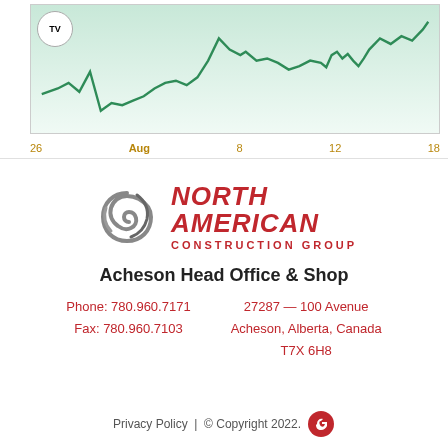[Figure (continuous-plot): Stock price line chart showing price movement from July 26 through August 18, with a green line on a light blue/green gradient background. X-axis labels: 26, Aug, 8, 12, 18. TradingView logo in top-left corner.]
[Figure (logo): North American Construction Group logo: grey spiral/swirl graphic on left, red bold italic text NORTH AMERICAN on right, with CONSTRUCTION GROUP below in smaller red caps.]
Acheson Head Office & Shop
Phone: 780.960.7171
Fax: 780.960.7103
27287 — 100 Avenue
Acheson, Alberta, Canada
T7X 6H8
Privacy Policy  |  © Copyright 2022.